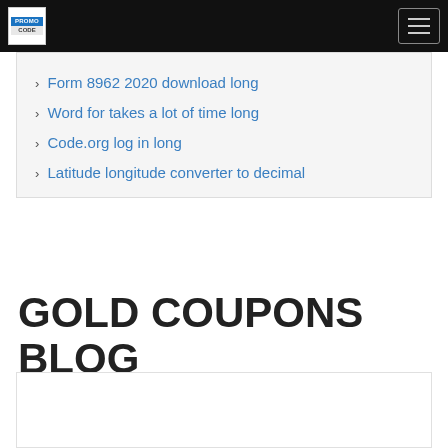PROMO CODE [logo] navigation bar
› Form 8962 2020 download long
› Word for takes a lot of time long
› Code.org log in long
› Latitude longitude converter to decimal
GOLD COUPONS BLOG
[Figure (other): Blog card placeholder box at the bottom of the page]